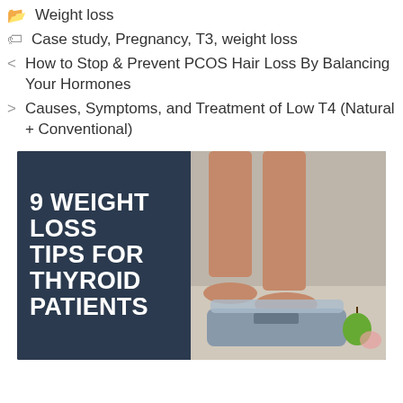Weight loss
Case study, Pregnancy, T3, weight loss
How to Stop & Prevent PCOS Hair Loss By Balancing Your Hormones
Causes, Symptoms, and Treatment of Low T4 (Natural + Conventional)
[Figure (infographic): Infographic image with dark blue left panel showing bold white text '9 WEIGHT LOSS TIPS FOR THYROID PATIENTS' and right panel showing a photo of person's feet standing on a bathroom scale with a green apple nearby]